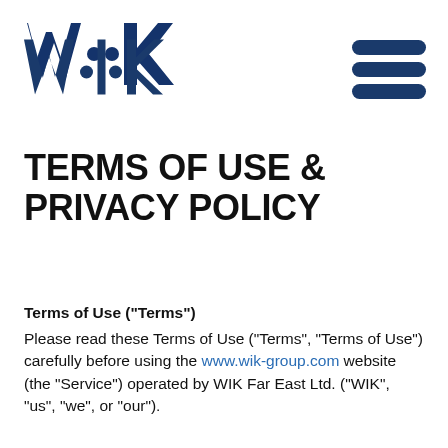[Figure (logo): WIK logo — bold dark blue letters W, dot, I, dot, K]
[Figure (other): Hamburger menu icon — three dark navy horizontal bars]
TERMS OF USE & PRIVACY POLICY
Terms of Use ("Terms")
Please read these Terms of Use ("Terms", "Terms of Use") carefully before using the www.wik-group.com website (the "Service") operated by WIK Far East Ltd. ("WIK", "us", "we", or "our").